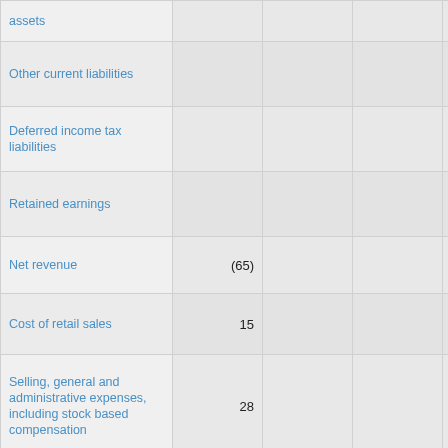|  |  |  |  |  |
| --- | --- | --- | --- | --- |
| assets |  |  |  |  |
| Other current liabilities |  |  |  | (46) |
| Deferred income tax liabilities |  |  |  | 2 |
| Retained earnings |  |  |  | $ 6 |
| Net revenue | (65) |  |  |  |
| Cost of retail sales | 15 |  |  |  |
| Selling, general and administrative expenses, including stock based compensation | 28 |  |  |  |
| Operating | 5 |  |  |  |
| Income tax (expense) benefit | 3 |  |  |  |